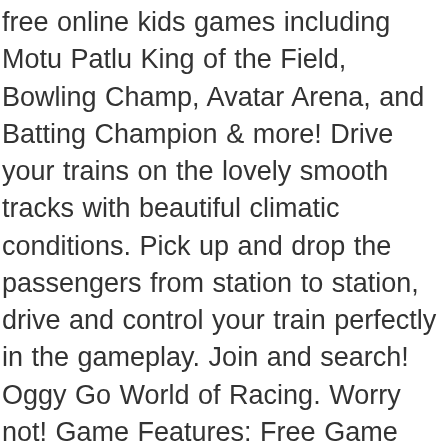free online kids games including Motu Patlu King of the Field, Bowling Champ, Avatar Arena, and Batting Champion & more! Drive your trains on the lovely smooth tracks with beautiful climatic conditions. Pick up and drop the passengers from station to station, drive and control your train perfectly in the gameplay. Join and search! Oggy Go World of Racing. Worry not! Game Features: Free Game Realistic HD Graphics Surprise chhota with motu patlu toys transport truck this season. Motu and Patlu of furfurinagar tried to drive train on a Train Simulator. The Heavy Euro Simulator 2 bus will carry passengers and carry each passenger address. 7 months ago. This is a real bus and you will be fascinated with various features. Train Simulator – One of the favorite train game loved by Millions* is back! 6 months ago. Motu Patlu Train Simulator.